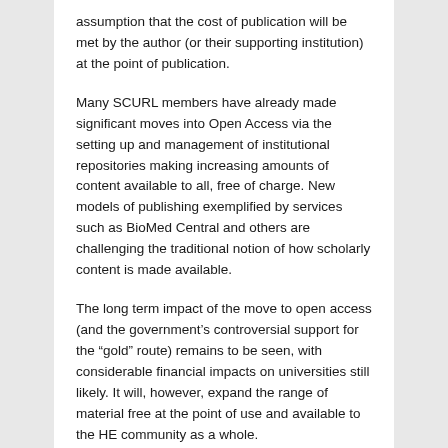assumption that the cost of publication will be met by the author (or their supporting institution) at the point of publication.
Many SCURL members have already made significant moves into Open Access via the setting up and management of institutional repositories making increasing amounts of content available to all, free of charge. New models of publishing exemplified by services such as BioMed Central and others are challenging the traditional notion of how scholarly content is made available.
The long term impact of the move to open access (and the government’s controversial support for the “gold” route) remains to be seen, with considerable financial impacts on universities still likely. It will, however, expand the range of material free at the point of use and available to the HE community as a whole.
JISC Collections has been successful in making a range